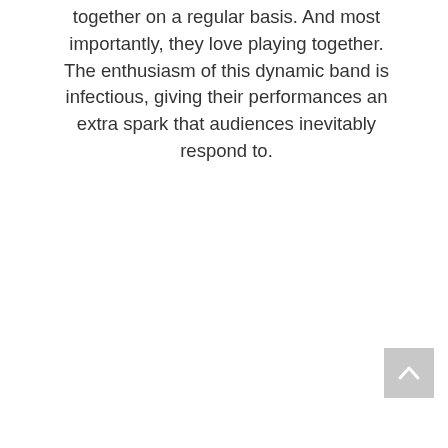together on a regular basis. And most importantly, they love playing together. The enthusiasm of this dynamic band is infectious, giving their performances an extra spark that audiences inevitably respond to.
[Figure (other): Scroll-to-top button: a grey square button with an upward-pointing chevron/caret arrow in white/light colour]